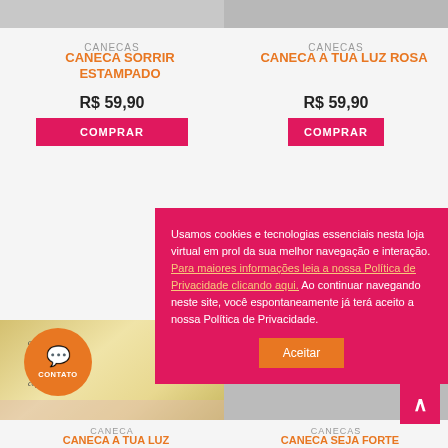[Figure (photo): Top cropped product images strip for two mug products]
CANECAS
CANECA SORRIR ESTAMPADO
R$ 59,90
COMPRAR
CANECAS
CANECA A TUA LUZ ROSA
R$ 59,90
COMPRAR
[Figure (photo): Mug with handwritten text 'a tua luz interior NINGUEM copia']
CANECA
CANECA A TUA LUZ
CANECA SEJA FORTE
Usamos cookies e tecnologias essenciais nesta loja virtual em prol da sua melhor navegação e interação. Para maiores informações leia a nossa Política de Privacidade clicando aqui. Ao continuar navegando neste site, você espontaneamente já terá aceito a nossa Política de Privacidade.
Aceitar